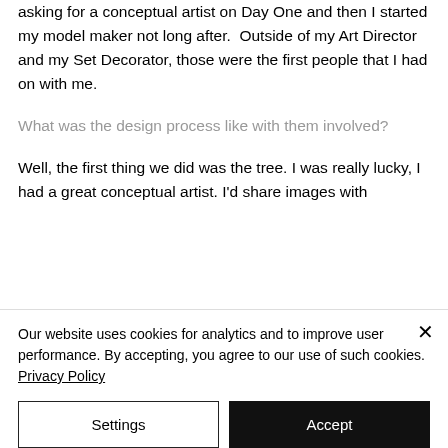asking for a conceptual artist on Day One and then I started my model maker not long after.  Outside of my Art Director and my Set Decorator, those were the first people that I had on with me.
What was the design process like with them involved?
Well, the first thing we did was the tree. I was really lucky, I had a great conceptual artist. I'd share images with
Our website uses cookies for analytics and to improve user performance. By accepting, you agree to our use of such cookies. Privacy Policy